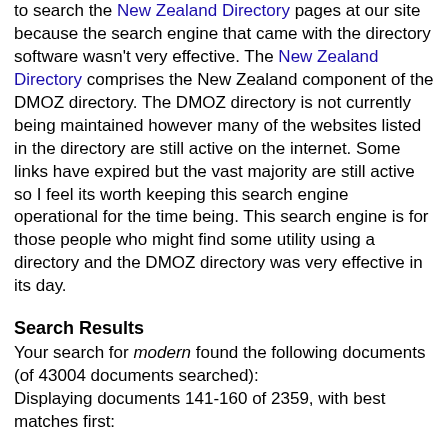to search the New Zealand Directory pages at our site because the search engine that came with the directory software wasn't very effective. The New Zealand Directory comprises the New Zealand component of the DMOZ directory. The DMOZ directory is not currently being maintained however many of the websites listed in the directory are still active on the internet. Some links have expired but the vast majority are still active so I feel its worth keeping this search engine operational for the time being. This search engine is for those people who might find some utility using a directory and the DMOZ directory was very effective in its day.
Search Results
Your search for modern found the following documents (of 43004 documents searched): Displaying documents 141-160 of 2359, with best matches first:
141. Saggio di vino restaurant Christchurch New Zealand
Saggio di vino combines traditional European fare with a